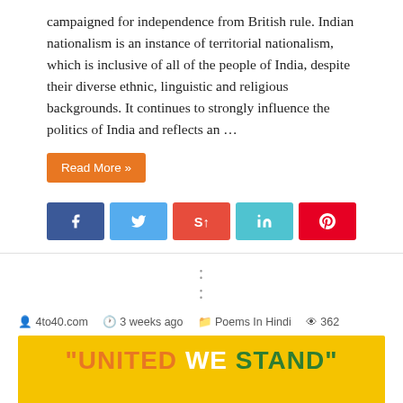campaigned for independence from British rule. Indian nationalism is an instance of territorial nationalism, which is inclusive of all of the people of India, despite their diverse ethnic, linguistic and religious backgrounds. It continues to strongly influence the politics of India and reflects an …
Read More »
[Figure (other): Social sharing buttons: Facebook (blue), Twitter (light blue), StumbleUpon (red), LinkedIn (teal), Pinterest (red)]
: :
4to40.com   3 weeks ago   Poems In Hindi   362
[Figure (illustration): Yellow background image with text 'UNITED WE STAND' in orange, white, and green. A cartoon boy holding an Indian flag is illustrated below the text.]